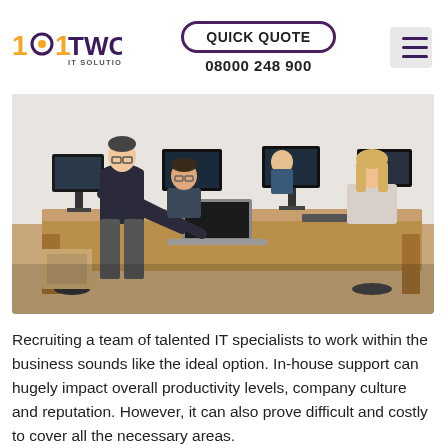[Figure (logo): 101 TWC IT Solutions logo]
QUICK QUOTE
08000 248 900
[Figure (photo): Office photo showing a team of IT professionals working at desks with multiple computer monitors. One person is standing and leaning over to assist a seated colleague with a laptop.]
Recruiting a team of talented IT specialists to work within the business sounds like the ideal option. In-house support can hugely impact overall productivity levels, company culture and reputation. However, it can also prove difficult and costly to cover all the necessary areas.